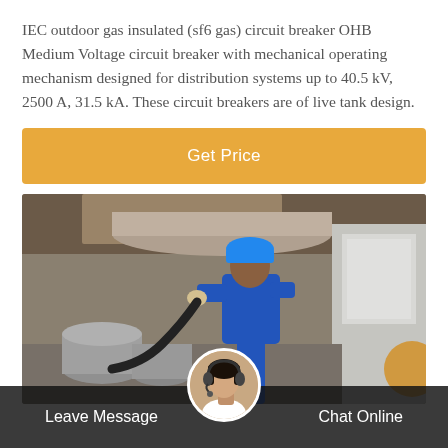IEC outdoor gas insulated (sf6 gas) circuit breaker OHB Medium Voltage circuit breaker with mechanical operating mechanism designed for distribution systems up to 40.5 kV, 2500 A, 31.5 kA. These circuit breakers are of live tank design.
[Figure (other): Orange 'Get Price' button/banner]
[Figure (photo): A worker in blue coveralls and blue hard hat working on electrical/industrial equipment in an industrial setting, with cables and metal panels visible.]
Leave Message    Chat Online